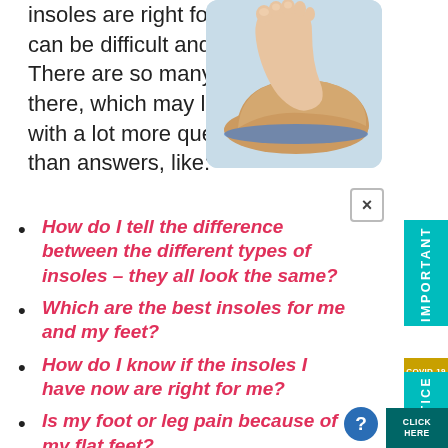insoles are right for your feet can be difficult and confusing. There are so many types out there, which may leave you with a lot more questions than answers, like:
[Figure (photo): A foot hovering above an orthotic insole on a light blue background]
How do I tell the difference between the different types of insoles – they all look the same?
Which are the best insoles for me and my feet?
How do I know if the insoles I have now are right for me?
Is my foot or leg pain because of my flat feet?
Am I going to get foot problems because of my flat feet – and would insoles help?